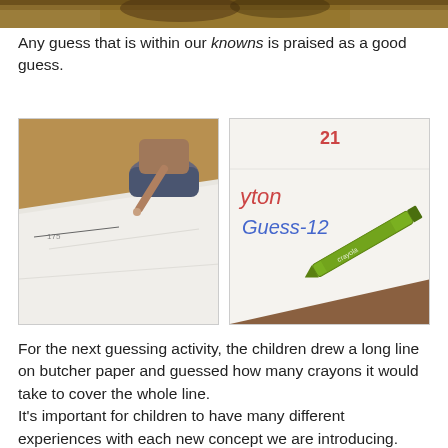[Figure (photo): Top strip showing partial photo of classroom activity]
Any guess that is within our knowns is praised as a good guess.
[Figure (photo): Left photo: child measuring a long line on white butcher paper on the floor]
[Figure (photo): Right photo: white butcher paper with handwriting 'yton Guess-12' and a green crayon resting on it]
For the next guessing activity, the children drew a long line on butcher paper and guessed how many crayons it would take to cover the whole line.
It's important for children to have many different experiences with each new concept we are introducing.